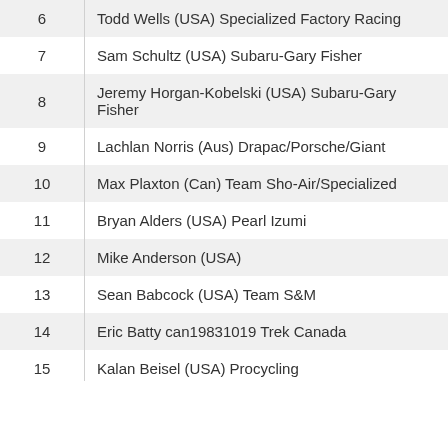| # | Rider |
| --- | --- |
| 6 | Todd Wells (USA) Specialized Factory Racing |
| 7 | Sam Schultz (USA) Subaru-Gary Fisher |
| 8 | Jeremy Horgan-Kobelski (USA) Subaru-Gary Fisher |
| 9 | Lachlan Norris (Aus) Drapac/Porsche/Giant |
| 10 | Max Plaxton (Can) Team Sho-Air/Specialized |
| 11 | Bryan Alders (USA) Pearl Izumi |
| 12 | Mike Anderson (USA) |
| 13 | Sean Babcock (USA) Team S&M |
| 14 | Eric Batty can19831019 Trek Canada |
| 15 | Kalan Beisel (USA) Procycling |